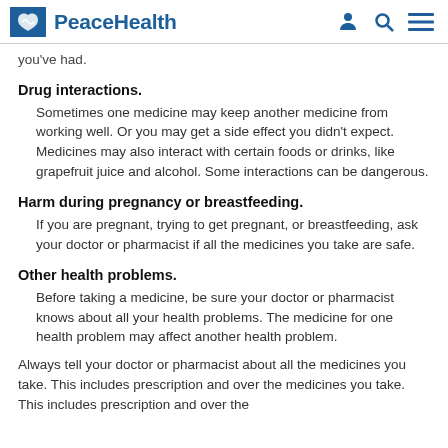PeaceHealth
you've had.
Drug interactions.
Sometimes one medicine may keep another medicine from working well. Or you may get a side effect you didn't expect. Medicines may also interact with certain foods or drinks, like grapefruit juice and alcohol. Some interactions can be dangerous.
Harm during pregnancy or breastfeeding.
If you are pregnant, trying to get pregnant, or breastfeeding, ask your doctor or pharmacist if all the medicines you take are safe.
Other health problems.
Before taking a medicine, be sure your doctor or pharmacist knows about all your health problems. The medicine for one health problem may affect another health problem.
Always tell your doctor or pharmacist about all the medicines you take. This includes prescription and over the